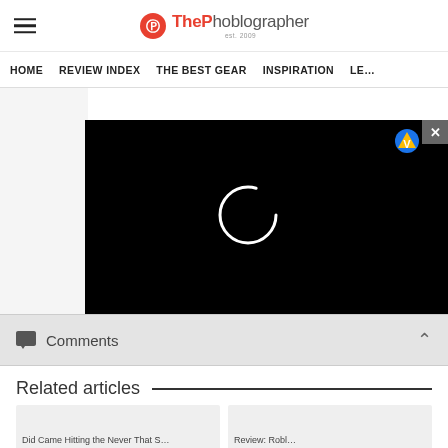ThePhoblographer
HOME  REVIEW INDEX  THE BEST GEAR  INSPIRATION  LE…
[Figure (screenshot): Video player overlay on white content area with black background and loading spinner circle, with close button (x) and vendor icon (V) in top-right corner]
Comments
Related articles
Pid Came Hitting the Never That S...
Review: Robl...